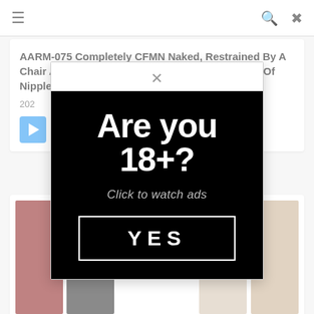≡  🔍  ✕
AARM-075 Completely CFMN Naked, Restrained By A Chair And Continued To Be Blamed For 3 Points Of Nipple, Glans, And An...
202...
[Figure (other): Blue play button icon]
[Figure (screenshot): Age verification ad popup overlay reading 'Are you 18+? Click to watch ads' with a YES button, on black background, with a close X button at top]
[Figure (photo): Partially visible second content card with thumbnail images]